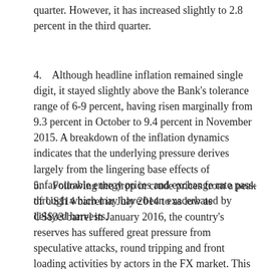quarter. However, it has increased slightly to 2.8 percent in the third quarter.
4.	Although headline inflation remained single digit, it stayed slightly above the Bank's tolerance range of 6-9 percent, having risen marginally from 9.3 percent in October to 9.4 percent in November 2015. A breakdown of the inflation dynamics indicates that the underlying pressure derives largely from the lingering base effects of unfavourable energy prices and exchange rate pass-through which may have been exacerbated by delayed harvests.
5.	Following the drop in crude prices from a peak of US114 barrel in July 2014 to as low as US$33/barrel in January 2016, the country's reserves has suffered great pressure from speculative attacks, round tripping and front loading activities by actors in the FX market. This fall in oil prices also implies that the CBN's monthly foreign earnings has fallen from as high as US$3.2 billion to current levels of as low as US$1